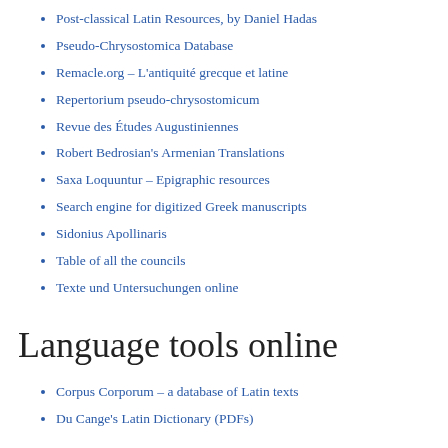Post-classical Latin Resources, by Daniel Hadas
Pseudo-Chrysostomica Database
Remacle.org – L'antiquité grecque et latine
Repertorium pseudo-chrysostomicum
Revue des Études Augustiniennes
Robert Bedrosian's Armenian Translations
Saxa Loquuntur – Epigraphic resources
Search engine for digitized Greek manuscripts
Sidonius Apollinaris
Table of all the councils
Texte und Untersuchungen online
Language tools online
Corpus Corporum – a database of Latin texts
Du Cange's Latin Dictionary (PDFs)